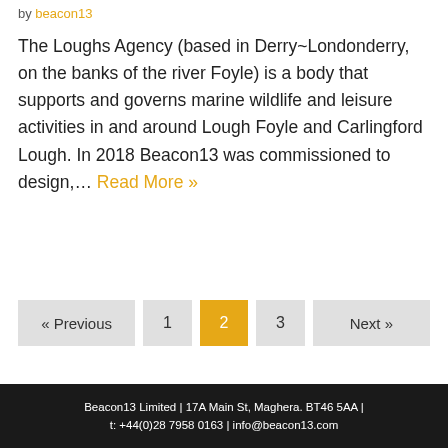by beacon13
The Loughs Agency (based in Derry~Londonderry, on the banks of the river Foyle) is a body that supports and governs marine wildlife and leisure activities in and around Lough Foyle and Carlingford Lough. In 2018 Beacon13 was commissioned to design,... Read More »
« Previous
1
2
3
Next »
Beacon13 Limited | 17A Main St, Maghera. BT46 5AA | t: +44(0)28 7958 0163 | info@beacon13.com